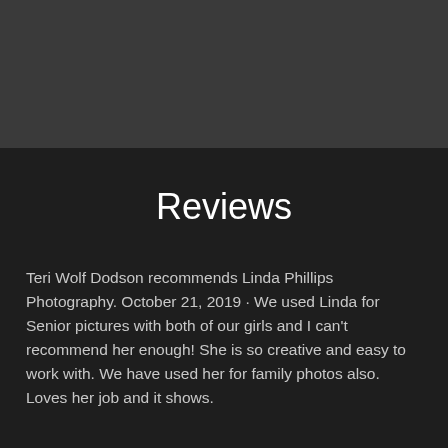[Figure (photo): Dark gray header background area]
Reviews
Teri Wolf Dodson recommends Linda Phillips Photography. October 21, 2019 · We used Linda for Senior pictures with both of our girls and I can't recommend her enough! She is so creative and easy to work with. We have used her for family photos also. Loves her job and it shows.
Kellie Mattingly Diorio recommends Linda Phillips Photography. September 28, 2019 · Our Senior session with Linda was fantastic! Her eye for lighting, ability to see a great shot and to anticipate h...